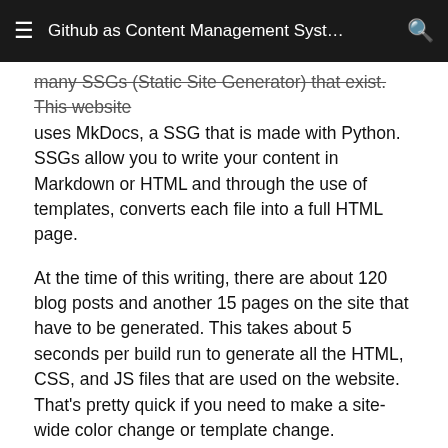Github as Content Management Syst…
many SSGs (Static Site Generator) that exist. This website uses MkDocs, a SSG that is made with Python. SSGs allow you to write your content in Markdown or HTML and through the use of templates, converts each file into a full HTML page.
At the time of this writing, there are about 120 blog posts and another 15 pages on the site that have to be generated. This takes about 5 seconds per build run to generate all the HTML, CSS, and JS files that are used on the website. That's pretty quick if you need to make a site-wide color change or template change.
Conclusion
If you are using Drupal or Wordpress for your blog,